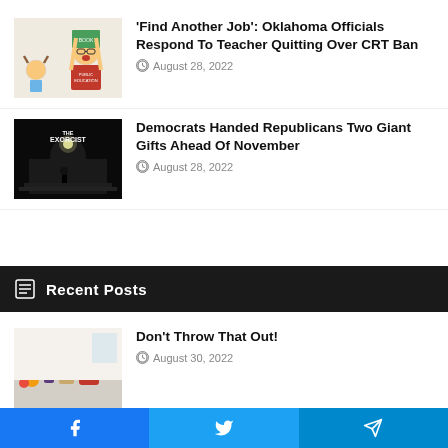[Figure (illustration): Cartoon illustration of a woman holding a book labeled 'Public Education' over a child's head]
'Find Another Job': Oklahoma Officials Respond To Teacher Quitting Over CRT Ban
August 28, 2022
[Figure (photo): Black and white movie-poster style image of US Capitol building with 'THE EXORCIST' text overlay]
Democrats Handed Republicans Two Giant Gifts Ahead Of November
August 28, 2022
Recent Posts
[Figure (photo): Kitchen countertop with various food items and kitchen appliances]
Don't Throw That Out!
August 30, 2022